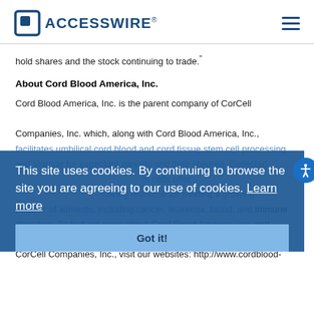ACCESSWIRE®
hold shares and the stock continuing to trade."
About Cord Blood America, Inc.
Cord Blood America, Inc. is the parent company of CorCell Companies, Inc. which, along with Cord Blood America, Inc., facilitates umbilical cord blood and cord tissue stem cell processing and storage for expectant parents and their children. Collected stem cells offer a potentially life-saving resource for treating a growing number of ailments, including cancer, leukemia, blood, and immune disorders. To find out more about Cord Blood America, Inc. and CorCell Companies, Inc., visit our websites: http://www.cordblood-
This site uses cookies. By continuing to browse the site you are agreeing to our use of cookies. Learn more
Got it!